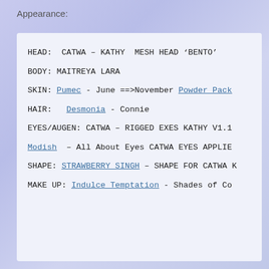Appearance:
HEAD:  CATWA – KATHY  MESH HEAD 'BENTO'
BODY: MAITREYA LARA
SKIN: Pumec - June ==>November Powder Pack
HAIR:   Desmonia - Connie
EYES/AUGEN: CATWA – RIGGED EXES KATHY V1.1
Modish  – All About Eyes CATWA EYES APPLIER
SHAPE: STRAWBERRY SINGH – SHAPE FOR CATWA K
MAKE UP: Indulce Temptation - Shades of Co